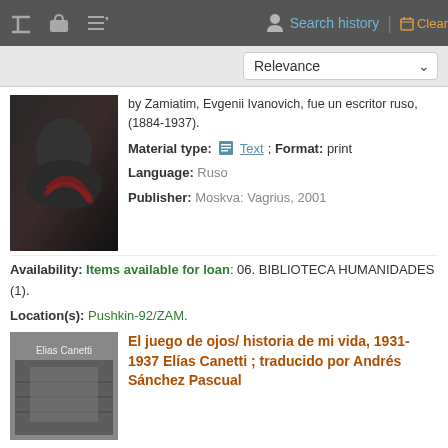Search history | Clear
Relevance
by Zamiatim, Evgenii Ivanovich, fue un escritor ruso, (1884-1937).
Material type: Text; Format: print
Language: Ruso
Publisher: Moskva: Vagrius, 2001
Availability: Items available for loan: 06. BIBLIOTECA HUMANIDADES (1).
Location(s): Pushkin-92/ZAM.
Place hold
Log in to add tags
Add to cart
El juego de ojos/ historia de mi vida, 1931-1937 Elías Canetti ; traducido por Andrés Sánchez Pascual